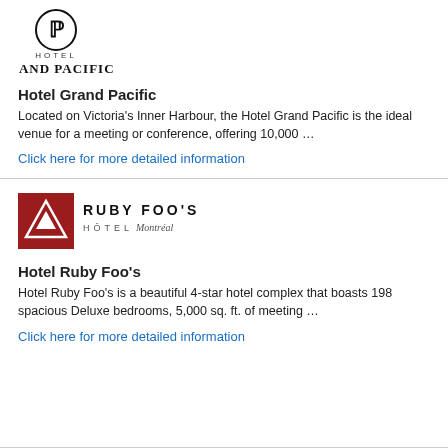[Figure (logo): Hotel Grand Pacific logo — circular black emblem above text 'HOTEL GRAND PACIFIC']
Hotel Grand Pacific
Located on Victoria's Inner Harbour, the Hotel Grand Pacific is the ideal venue for a meeting or conference, offering 10,000 …
Click here for more detailed information
[Figure (logo): Ruby Foo's Hôtel Montréal logo — red square with white mountain/triangle icon and text 'RUBY FOO'S HÔTEL Montréal']
Hotel Ruby Foo's
Hotel Ruby Foo's is a beautiful 4-star hotel complex that boasts 198 spacious Deluxe bedrooms, 5,000 sq. ft. of meeting …
Click here for more detailed information